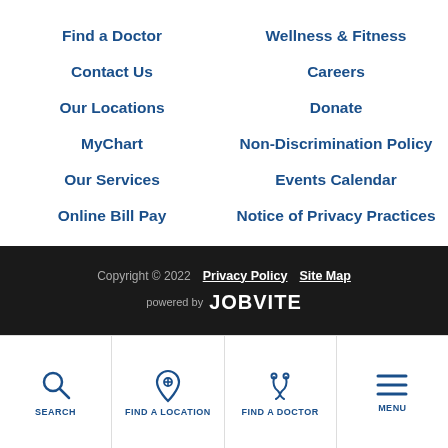Find a Doctor
Contact Us
Our Locations
MyChart
Our Services
Online Bill Pay
Wellness & Fitness
Careers
Donate
Non-Discrimination Policy
Events Calendar
Notice of Privacy Practices
Copyright © 2022  Privacy Policy  Site Map  powered by JOBVITE
SEARCH  FIND A LOCATION  FIND A DOCTOR  MENU